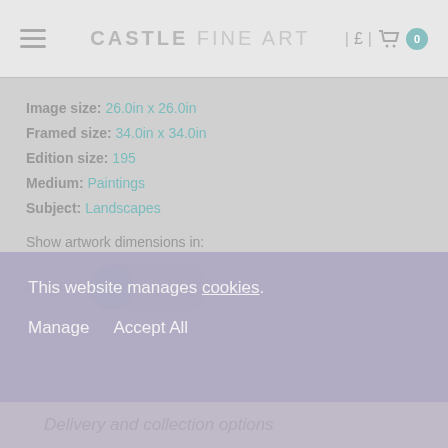CASTLE FINE ART
Image size: 26.0in x 26.0in
Framed size: 34.0in x 34.0in
Edition size: 195
Medium: Paintings
Subject: Landscapes
Show artwork dimensions in:
[Figure (other): Toggle switch showing INCHES selected (left) and CM option (right), with a teal circle thumb on the left side]
This website manages cookies.
Manage   Accept All
Delivery and collection options